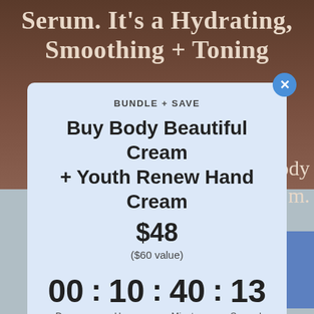[Figure (screenshot): Background image of a person, dark brown tones, with partial text 'Serum. It's a Hydrating, Smoothing + Toning' visible on the top portion, and a blue button partially visible on the right side.]
BUNDLE + SAVE
Buy Body Beautiful Cream + Youth Renew Hand Cream $48 ($60 value)
00 : 10 : 40 : 13
Days   Hours   Minutes   Seconds
SHOP NOW
Terms and conditions apply.